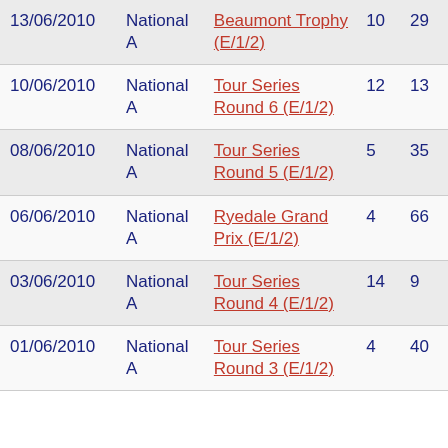| Date | Category | Race | Col4 | Col5 |
| --- | --- | --- | --- | --- |
| 13/06/2010 | National A | Beaumont Trophy (E/1/2) | 10 | 29 |
| 10/06/2010 | National A | Tour Series Round 6 (E/1/2) | 12 | 13 |
| 08/06/2010 | National A | Tour Series Round 5 (E/1/2) | 5 | 35 |
| 06/06/2010 | National A | Ryedale Grand Prix (E/1/2) | 4 | 66 |
| 03/06/2010 | National A | Tour Series Round 4 (E/1/2) | 14 | 9 |
| 01/06/2010 | National A | Tour Series Round 3 (E/1/2) | 4 | 40 |